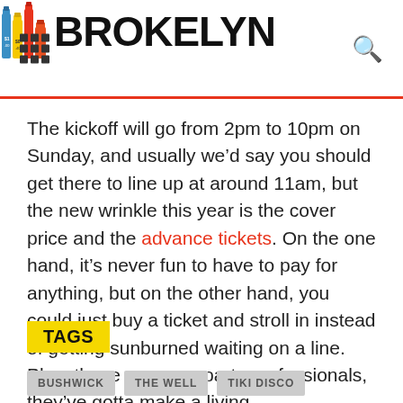BROKELYN
The kickoff will go from 2pm to 10pm on Sunday, and usually we’d say you should get there to line up at around 11am, but the new wrinkle this year is the cover price and the advance tickets. On the one hand, it’s never fun to have to pay for anything, but on the other hand, you could just buy a ticket and stroll in instead of getting sunburned waiting on a line. Plus, these guys are party professionals, they’ve gotta make a living.
TAGS
BUSHWICK  THE WELL  TIKI DISCO